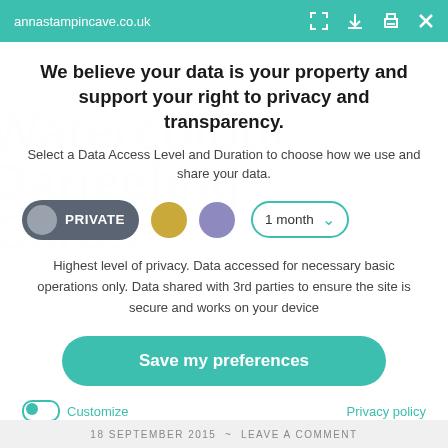annastampincave.co.uk
We believe your data is your property and support your right to privacy and transparency.
Select a Data Access Level and Duration to choose how we use and share your data.
PRIVATE | 1 month
Highest level of privacy. Data accessed for necessary basic operations only. Data shared with 3rd parties to ensure the site is secure and works on your device
Save my preferences
Customize
Privacy policy
18 SEPTEMBER 2015 ~ LEAVE A COMMENT